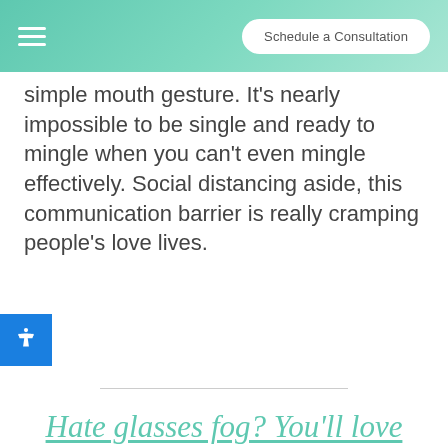Schedule a Consultation
simple mouth gesture. It's nearly impossible to be single and ready to mingle when you can't even mingle effectively. Social distancing aside, this communication barrier is really cramping people's love lives.
Hate glasses fog? You'll love LASIK and this sweetheart of a deal—